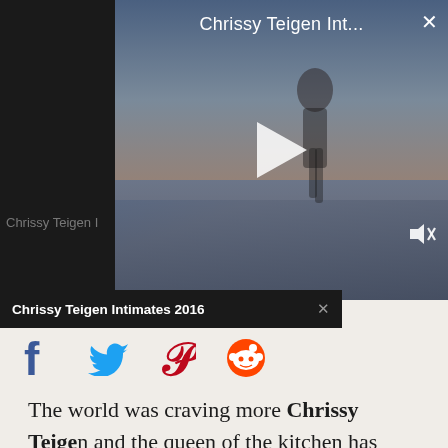[Figure (screenshot): Video player overlay showing 'Chrissy Teigen Int...' title with play button, close (X) button, and mute icon over a beach/ocean background image]
Chrissy Teigen I
Chrissy Teigen Intimates 2016
[Figure (infographic): Social sharing icons row: Facebook (f), Twitter (bird), Pinterest (P), Reddit (alien head)]
The world was craving more Chrissy Teigen and the queen of the kitchen has delivered.
Buy the Sports Illustrated Swimsuit 2022 Issue!
Now a New York Times bestselling author, Chrissy is proving that all of her Cravings are, in fact, ours, too. And as unbelievable as it may be to have "the